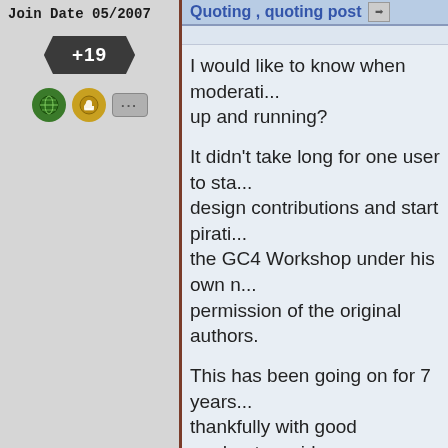Join Date 05/2007
[Figure (infographic): Hexagonal badge showing '+19' reputation score, followed by a row of three icons: a green circle with globe icon, a gold circle with thumbs-up icon, and a grey rectangle with ellipsis dots]
Quoting , quoting post
I would like to know when moderati... up and running?
It didn't take long for one user to sta... design contributions and start pirati... the GC4 Workshop under his own n... permission of the original authors.
This has been going on for 7 years... thankfully with good moderators vid... I was really hoping it would not hap...
I would also like to know what the n... be and what the policy for violating...
Any information in regard to GC4 w...